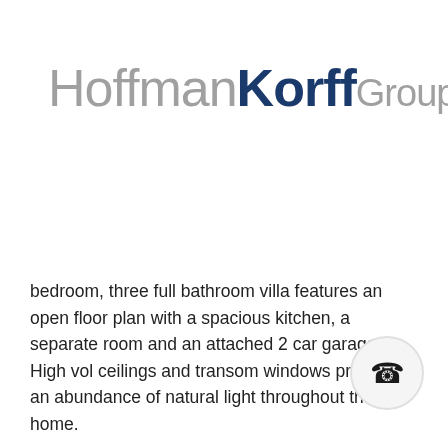[Figure (logo): HoffmanKorff Group logo — 'Hoffman' in light gray, 'Korff' in dark navy bold, 'Group' in light gray smaller weight]
bedroom, three full bathroom villa features an open floor plan with a spacious kitchen, a separate room and an attached 2 car garage. High vol ceilings and transom windows provide an abundance of natural light throughout the home.